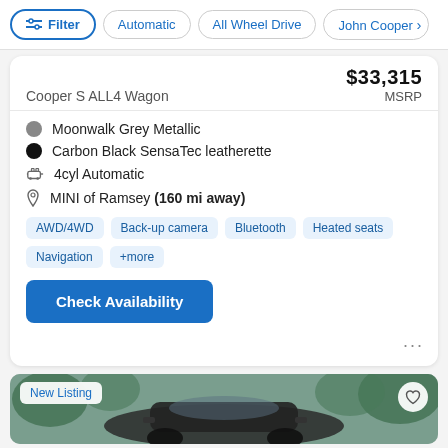Filter | Automatic | All Wheel Drive | John Cooper >
Cooper S ALL4 Wagon
$33,315 MSRP
Moonwalk Grey Metallic
Carbon Black SensaTec leatherette
4cyl Automatic
MINI of Ramsey (160 mi away)
AWD/4WD  Back-up camera  Bluetooth  Heated seats  Navigation  +more
Check Availability
[Figure (photo): Front view of a MINI Cooper S ALL4 Wagon vehicle, dark colored, with New Listing badge and heart icon overlay]